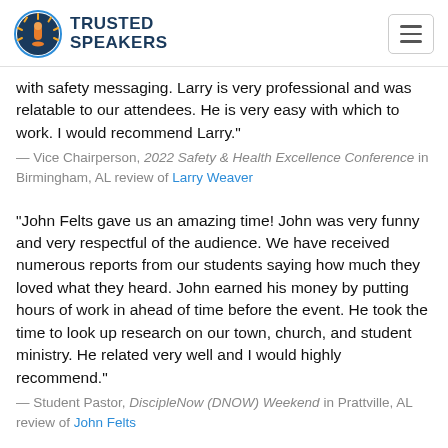TRUSTED SPEAKERS
with safety messaging. Larry is very professional and was relatable to our attendees. He is very easy with which to work. I would recommend Larry."
— Vice Chairperson, 2022 Safety & Health Excellence Conference in Birmingham, AL review of Larry Weaver
"John Felts gave us an amazing time! John was very funny and very respectful of the audience. We have received numerous reports from our students saying how much they loved what they heard. John earned his money by putting hours of work in ahead of time before the event. He took the time to look up research on our town, church, and student ministry. He related very well and I would highly recommend."
— Student Pastor, DiscipleNow (DNOW) Weekend in Prattville, AL review of John Felts